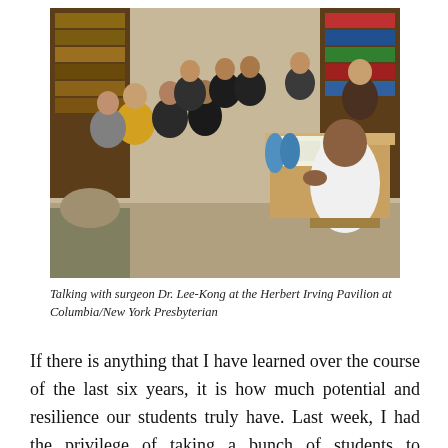[Figure (photo): A group of students sitting in a semicircle listening to a surgeon in a white coat who is seated at a desk gesturing with his hand. The setting appears to be an office or study room with bookshelves in the background.]
Talking with surgeon Dr. Lee-Kong at the Herbert Irving Pavilion at Columbia/New York Presbyterian
If there is anything that I have learned over the course of the last six years, it is how much potential and resilience our students truly have. Last week, I had the privilege of taking a bunch of students to Columbia University's